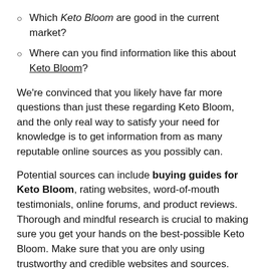Which Keto Bloom are good in the current market?
Where can you find information like this about Keto Bloom?
We're convinced that you likely have far more questions than just these regarding Keto Bloom, and the only real way to satisfy your need for knowledge is to get information from as many reputable online sources as you possibly can.
Potential sources can include buying guides for Keto Bloom, rating websites, word-of-mouth testimonials, online forums, and product reviews. Thorough and mindful research is crucial to making sure you get your hands on the best-possible Keto Bloom. Make sure that you are only using trustworthy and credible websites and sources.
We provide Keto Bloom buying guides and the...